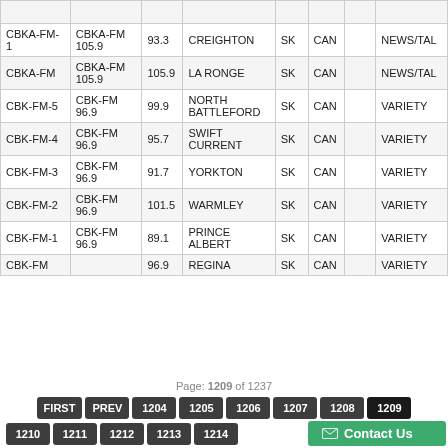|  |  |  |  | SK | CAN |  | NEWS/TAL |
| --- | --- | --- | --- | --- | --- | --- | --- |
| CBKA-FM-1 | CBKA-FM 105.9 | 93.3 | CREIGHTON | SK | CAN |  | NEWS/TAL |
| CBKA-FM | CBKA-FM 105.9 | 105.9 | LA RONGE | SK | CAN |  | NEWS/TAL |
| CBK-FM-5 | CBK-FM 96.9 | 99.9 | NORTH BATTLEFORD | SK | CAN |  | VARIETY |
| CBK-FM-4 | CBK-FM 96.9 | 95.7 | SWIFT CURRENT | SK | CAN |  | VARIETY |
| CBK-FM-3 | CBK-FM 96.9 | 91.7 | YORKTON | SK | CAN |  | VARIETY |
| CBK-FM-2 | CBK-FM 96.9 | 101.5 | WARMLEY | SK | CAN |  | VARIETY |
| CBK-FM-1 | CBK-FM 96.9 | 89.1 | PRINCE ALBERT | SK | CAN |  | VARIETY |
| CBK-FM |  | 96.9 | REGINA | SK | CAN |  | VARIETY |
Page: 1209 of 1237
FIRST PREV 1204 1205 1206 1207 1208 1209 1210 1211 1212 1213 1214 Contact Us